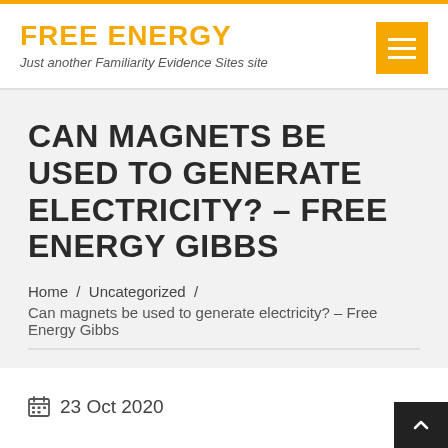FREE ENERGY
Just another Familiarity Evidence Sites site
CAN MAGNETS BE USED TO GENERATE ELECTRICITY? – FREE ENERGY GIBBS
Home / Uncategorized /
Can magnets be used to generate electricity? – Free Energy Gibbs
23 Oct 2020